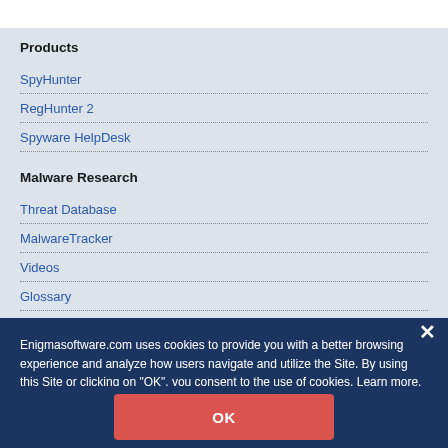Products
SpyHunter
RegHunter 2
Spyware HelpDesk
Malware Research
Threat Database
MalwareTracker
Videos
Glossary
Enigmasoftware.com uses cookies to provide you with a better browsing experience and analyze how users navigate and utilize the Site. By using this Site or clicking on "OK", you consent to the use of cookies. Learn more.
OK